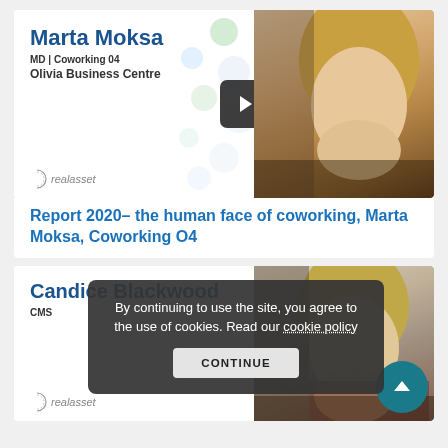[Figure (screenshot): Video thumbnail showing Marta Moksa with a play button overlay, decorative dots background, and realasset logo]
Report 2020– the human face of coworking, Marta Moksa, Coworking O4
[Figure (screenshot): Profile image card of Candice Blackwood, CMS, with realasset logo and teal scroll-to-top button]
By continuing to use the site, you agree to the use of cookies. Read our cookie policy
CONTINUE